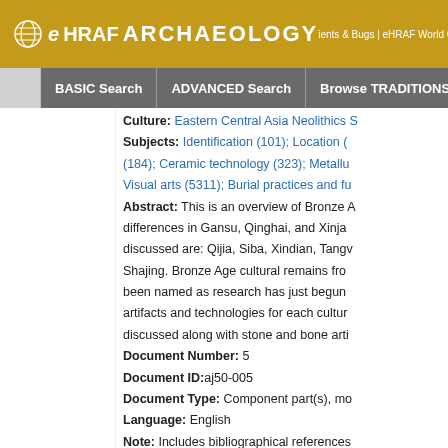eHRAF ARCHAEOLOGY | ients & Bugs | eHRAF World Cultures
BASIC Search | ADVANCED Search | Browse TRADITIONS
Culture: Eastern Central Asia Neolithic S...
Subjects: Identification (101); Location (...) (184); Ceramic technology (323); Metallu...; Visual arts (5311); Burial practices and fu...
Abstract: This is an overview of Bronze A... differences in Gansu, Qinghai, and Xinja... discussed are: Qijia, Siba, Xindian, Tangv... Shajing. Bronze Age cultural remains fro... been named as research has just begun artifacts and technologies for each cultur... discussed along with stone and bone arti...
Document Number: 5
Document ID: aj50-005
Document Type: Component part(s), mo...
Language: English
Note: Includes bibliographical references...
Field Date: no date
Evaluation: Archaeologist-4
Analyst: Sarah Berry; 1999
Coverage Date: 4630 BP-2221 BP(2630...